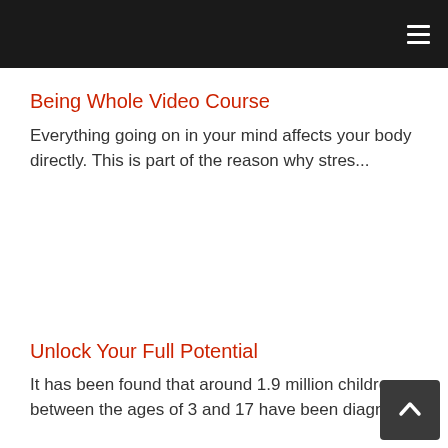≡
Being Whole Video Course
Everything going on in your mind affects your body directly. This is part of the reason why stres...
Unlock Your Full Potential
It has been found that around 1.9 million children between the ages of 3 and 17 have been diagnos...